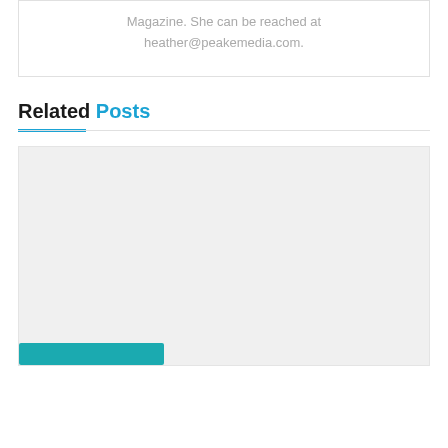Magazine. She can be reached at heather@peakemedia.com.
Related Posts
[Figure (other): A large light gray placeholder image box for a related post, with a teal button at the bottom left.]